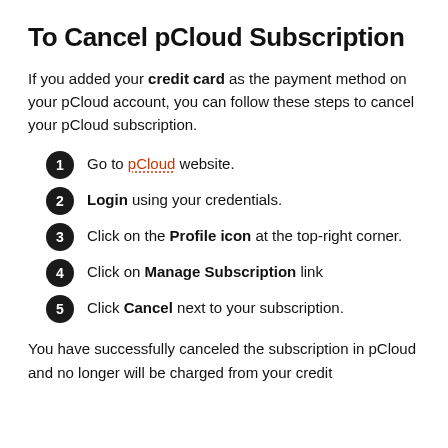To Cancel pCloud Subscription
If you added your credit card as the payment method on your pCloud account, you can follow these steps to cancel your pCloud subscription.
1. Go to pCloud website.
2. Login using your credentials.
3. Click on the Profile icon at the top-right corner.
4. Click on Manage Subscription link
5. Click Cancel next to your subscription.
You have successfully canceled the subscription in pCloud and no longer will be charged from your credit